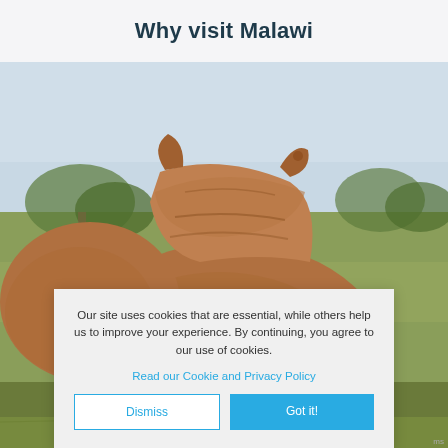Why visit Malawi
[Figure (photo): Close-up rear view of a rhinoceros in a savanna landscape with blurred green trees and a pale sky background.]
Our site uses cookies that are essential, while others help us to improve your experience. By continuing, you agree to our use of cookies.
Read our Cookie and Privacy Policy
Dismiss
Got it!